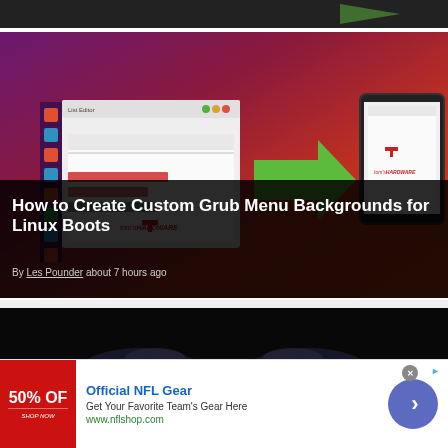[Figure (screenshot): Partial top of a webpage screenshot, dark background with partial UI visible]
[Figure (screenshot): Article card: How to Create Custom Grub Menu Backgrounds for Linux Boots - shows Ubuntu desktop with grub customizer app and arrow pointing to tablet display, red/purple gradient background]
How to Create Custom Grub Menu Backgrounds for Linux Boots
By Les Pounder about 7 hours ago
[Figure (screenshot): Partial article card showing a PS5 DualSense controller glowing blue on black background]
[Figure (infographic): Advertisement banner: Official NFL Gear - Get Your Favorite Team's Gear Here - www.nflshop.com with 50% OFF text on red background and a blue circular arrow button]